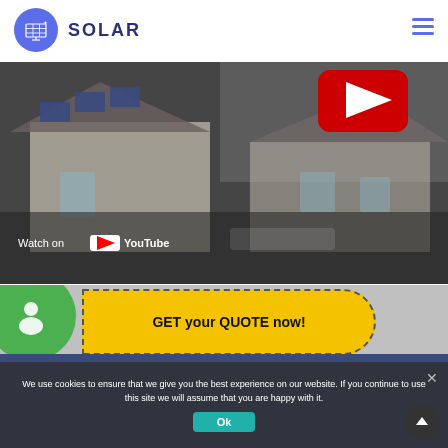[Figure (logo): Solar company logo: blue circle with solar panel icon, next to bold text SOLAR]
[Figure (screenshot): YouTube video embed showing aerial view of house with solar panels on roof, red play button, 'Watch on YouTube' text at bottom left]
[Figure (infographic): Call-to-action section with green phone circle icon and yellow pill-shaped button reading 'GET your QUOTE now!']
We use cookies to ensure that we give you the best experience on our website. If you continue to use this site we will assume that you are happy with it.
[Figure (other): Ok button (teal/green) for cookie consent, and scroll-to-top circular dark button with up arrow]